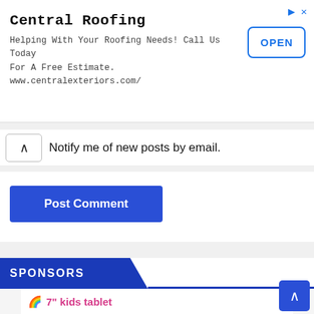[Figure (infographic): Advertisement banner for Central Roofing with OPEN button. Title: Central Roofing. Body: Helping With Your Roofing Needs! Call Us Today For A Free Estimate. www.centralexteriors.com/]
Notify me of new posts by email.
Post Comment
SPONSORS
[Figure (photo): Advertisement image showing a 7" kids tablet with pink case and rainbow logo, with a cartoon character on screen.]